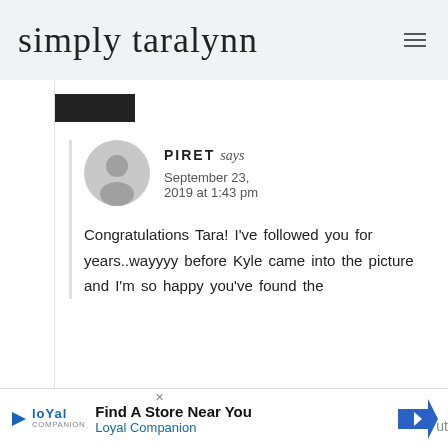simply taralynn
[Figure (other): Black redacted/censored bar covering some content]
[Figure (illustration): Gray default user avatar circle with person silhouette]
PIRET says
September 23, 2019 at 1:43 pm
Congratulations Tara! I've followed you for years..wayyyy before Kyle came into the picture and I'm so happy you've found the
[Figure (other): Advertisement banner: Find A Store Near You - Loyal Companion with navigation arrow icon]